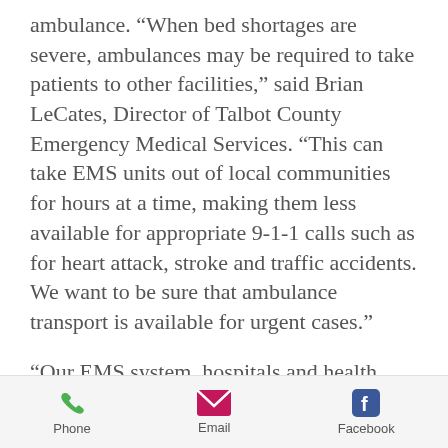ambulance. “When bed shortages are severe, ambulances may be required to take patients to other facilities,” said Brian LeCates, Director of Talbot County Emergency Medical Services. “This can take EMS units out of local communities for hours at a time, making them less available for appropriate 9-1-1 calls such as for heart attack, stroke and traffic accidents. We want to be sure that ambulance transport is available for urgent cases.”
“Our EMS system, hospitals and health care personnel are responding to these extraordinary circumstances and continue to meet the needs of our patients,” says Dr. Ted Delbridge, Executive Director of the Maryland
Phone  Email  Facebook